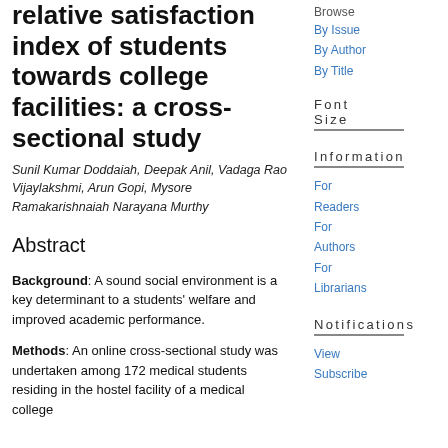relative satisfaction index of students towards college facilities: a cross-sectional study
Sunil Kumar Doddaiah, Deepak Anil, Vadaga Rao Vijaylakshmi, Arun Gopi, Mysore Ramakarishnaiah Narayana Murthy
Abstract
Background: A sound social environment is a key determinant to a students' welfare and improved academic performance.
Methods: An online cross-sectional study was undertaken among 172 medical students residing in the hostel facility of a medical college
Browse
By Issue
By Author
By Title
Font Size
Information
For Readers
For Authors
For Librarians
Notifications
View
Subscribe